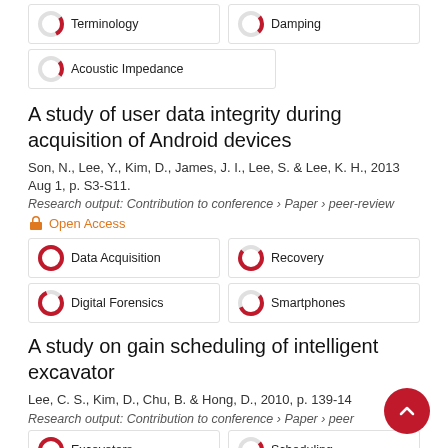Terminology
Damping
Acoustic Impedance
A study of user data integrity during acquisition of Android devices
Son, N., Lee, Y., Kim, D., James, J. I., Lee, S. & Lee, K. H., 2013 Aug 1, p. S3-S11.
Research output: Contribution to conference › Paper › peer-review
Open Access
Data Acquisition
Recovery
Digital Forensics
Smartphones
A study on gain scheduling of intelligent excavator
Lee, C. S., Kim, D., Chu, B. & Hong, D., 2010, p. 139-14
Research output: Contribution to conference › Paper › peer
Excavators
Scheduling